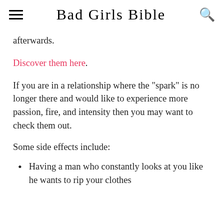Bad Girls Bible
afterwards.
Discover them here.
If you are in a relationship where the "spark" is no longer there and would like to experience more passion, fire, and intensity then you may want to check them out.
Some side effects include:
Having a man who constantly looks at you like he wants to rip your clothes